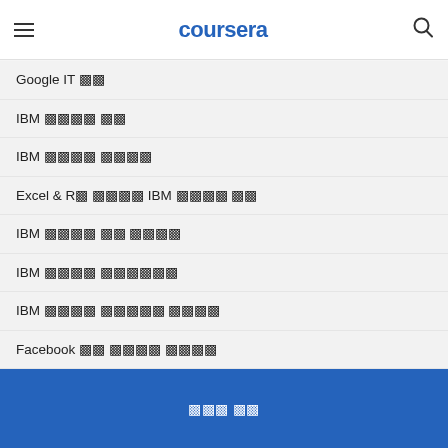coursera
Google IT ▣▣
IBM ▣▣▣▣ ▣▣
IBM ▣▣▣▣ ▣▣▣▣
Excel & R▣ ▣▣▣▣ IBM ▣▣▣▣ ▣▣
IBM ▣▣▣▣ ▣▣ ▣▣▣▣
IBM ▣▣▣▣ ▣▣▣▣▣▣
IBM ▣▣▣▣ ▣▣▣▣▣ ▣▣▣▣
Facebook ▣▣ ▣▣▣▣ ▣▣▣▣
Facebook ▣▣▣▣ ▣▣
Salesforce ▣▣ ▣▣ ▣▣▣▣
Salesforce ▣▣ ▣▣
▣▣▣ ▣▣